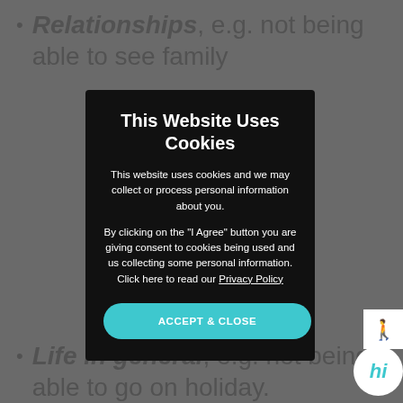Relationships, e.g. not being able to see family
[Figure (screenshot): Cookie consent modal overlay on a webpage. Black modal dialog with title 'This Website Uses Cookies', explanatory text about cookies and personal information, a link to Privacy Policy, and a teal 'ACCEPT & CLOSE' button.]
Life in general, e.g. not being able to go on holiday.